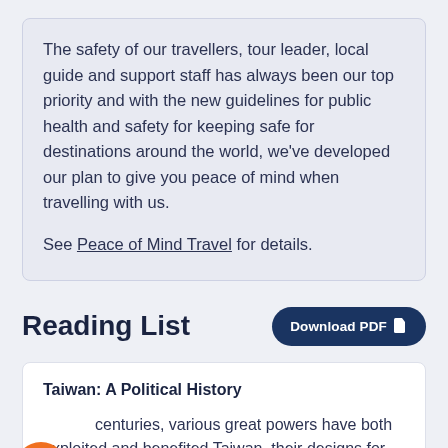The safety of our travellers, tour leader, local guide and support staff has always been our top priority and with the new guidelines for public health and safety for keeping safe for destinations around the world, we've developed our plan to give you peace of mind when travelling with us.

See Peace of Mind Travel for details.
Reading List
Download PDF
Taiwan: A Political History
centuries, various great powers have both exploited and benefited Taiwan, their designs for